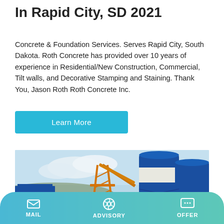The 10 Best Concrete Contractors In Rapid City, SD 2021
Concrete & Foundation Services. Serves Rapid City, South Dakota. Roth Concrete has provided over 10 years of experience in Residential/New Construction, Commercial, Tilt walls, and Decorative Stamping and Staining. Thank You, Jason Roth Roth Concrete Inc.
[Figure (other): Cyan/teal Learn More button]
[Figure (photo): Photo of a concrete batching plant with blue silos and orange conveyor structure against a light blue sky]
MAIL   ADVISORY   OFFER